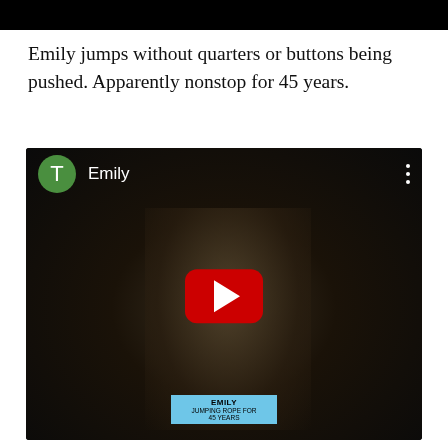[Figure (screenshot): Dark video thumbnail strip at the top of the page]
Emily jumps without quarters or buttons being pushed. Apparently nonstop for 45 years.
[Figure (screenshot): YouTube video embed showing a toy display scene with figurines, a YouTube play button overlay, a green 'T' avatar icon with 'Emily' label and three-dot menu. At the bottom, a blue sign reads 'EMILY JUMPING ROPE FOR 45 YEARS'.]